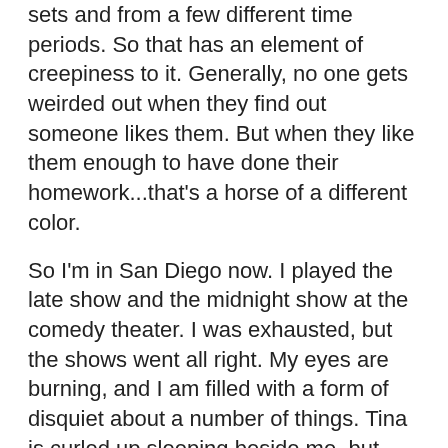sets and from a few different time periods. So that has an element of creepiness to it. Generally, no one gets weirded out when they find out someone likes them. But when they like them enough to have done their homework...that's a horse of a different color.
So I'm in San Diego now. I played the late show and the midnight show at the comedy theater. I was exhausted, but the shows went all right. My eyes are burning, and I am filled with a form of disquiet about a number of things. Tina is curled up sleeping beside me, but when I got home, I realized that she had splattered a few of my parents' carpeted steps with liquid shit. So I spent a half hour or so cleaning that up, much to my dismay. I really do need the help of the Dog Whisperer. As cute as she is, she is a ridiculous handful. But I don't want to apply to be featured on the show, because I don't want the world to make fun of my cluttered apartment.
I've been uploading photos to my Flickr photostream for the past week or so. I have more than 21,000 photos uploaded so far. And there are many, many more to go. That verges on ridiculously obsessive in a particular faint area in the